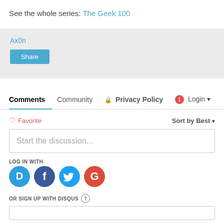See the whole series: The Geek 100
Ax0n
Share
Comments  Community  Privacy Policy  1  Login
Favorite  Sort by Best
Start the discussion...
LOG IN WITH
[Figure (infographic): Four social login buttons: Disqus (blue circle D), Facebook (dark blue circle f), Twitter (light blue circle bird), Google (red circle G)]
OR SIGN UP WITH DISQUS ?
Name